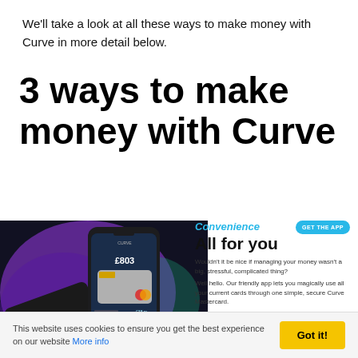We'll take a look at all these ways to make money with Curve in more detail below.
3 ways to make money with Curve
[Figure (screenshot): Curve app screenshot showing a smartphone with the Curve app open, displaying a balance of £803, alongside a black Curve Mastercard and a grey card, set against a purple and dark splatter background.]
Convenience
All for you

Wouldn't it be nice if managing your money wasn't a big, stressful, complicated thing?

Well hello. Our friendly app lets you magically use all your current cards through one simple, secure Curve Mastercard.

It's the only card you need to carry. Plus, you'll get instant cashback rewards from your favourite retailers and you can spend abroad with no exchange fees. Nice and simple.
This website uses cookies to ensure you get the best experience on our website More info